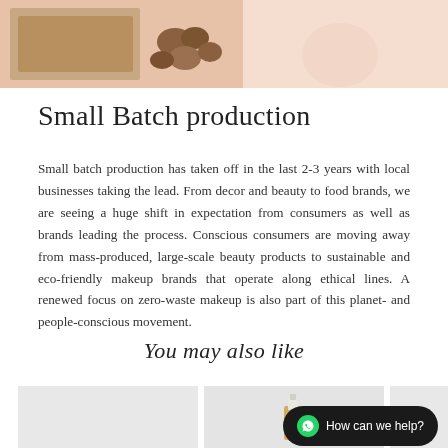[Figure (photo): Top image area showing a product box with nuts/seeds on a pink/peach background]
Small Batch production
Small batch production has taken off in the last 2-3 years with local businesses taking the lead. From decor and beauty to food brands, we are seeing a huge shift in expectation from consumers as well as brands leading the process. Conscious consumers are moving away from mass-produced, large-scale beauty products to sustainable and eco-friendly makeup brands that operate along ethical lines. A renewed focus on zero-waste makeup is also part of this planet- and people-conscious movement.
You may also like
[Figure (photo): Three product recommendation cards below 'You may also like' heading, with a WhatsApp chat button overlay reading 'How can we help?']